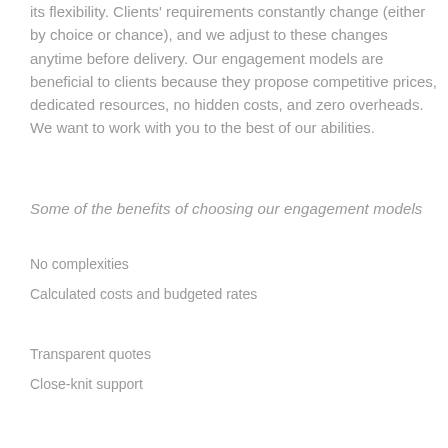its flexibility. Clients' requirements constantly change (either by choice or chance), and we adjust to these changes anytime before delivery. Our engagement models are beneficial to clients because they propose competitive prices, dedicated resources, no hidden costs, and zero overheads. We want to work with you to the best of our abilities.
Some of the benefits of choosing our engagement models
No complexities
Calculated costs and budgeted rates
Transparent quotes
Close-knit support